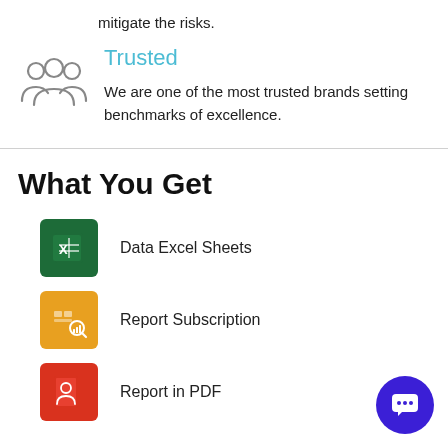mitigate the risks.
Trusted
We are one of the most trusted brands setting benchmarks of excellence.
What You Get
Data Excel Sheets
Report Subscription
Report in PDF